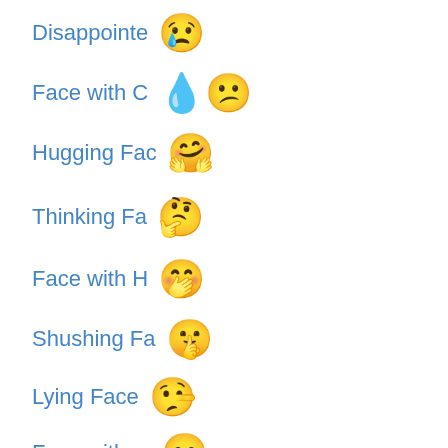Disappointe 😢
Face with C 💧😕
Hugging Fac 🤗
Thinking Fa 🤔
Face with H 🤭
Shushing Fa 🤫
Lying Face 🤥
Face withou 😶
Neutral Fac 😐